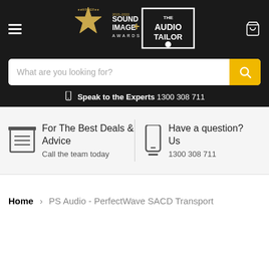[Figure (logo): Sound+Image Awards 2021-2022 Winner logo combined with The Audio Tailor logo on dark background header]
What are you looking for?
Speak to the Experts 1300 308 711
For The Best Deals & Advice
Call the team today
Have a question? Us
1300 308 711
Home › PS Audio - PerfectWave SACD Transport